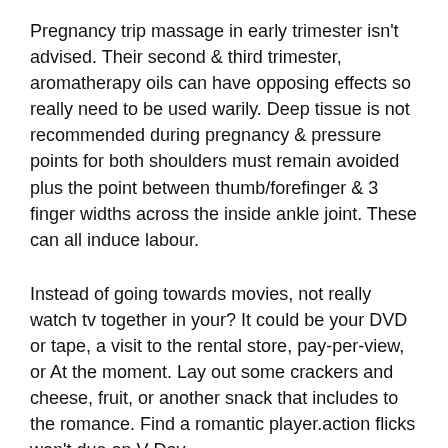Pregnancy trip massage in early trimester isn't advised. Their second & third trimester, aromatherapy oils can have opposing effects so really need to be used warily. Deep tissue is not recommended during pregnancy & pressure points for both shoulders must remain avoided plus the point between thumb/forefinger & 3 finger widths across the inside ankle joint. These can all induce labour.
Instead of going towards movies, not really watch tv together in your? It could be your DVD or tape, a visit to the rental store, pay-per-view, or At the moment. Lay out some crackers and cheese, fruit, or another snack that includes to the romance. Find a romantic player.action flicks won't due on V-Day.